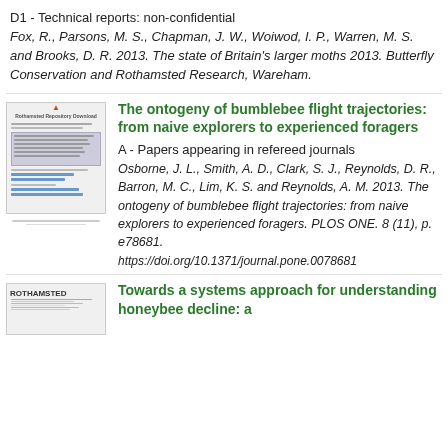D1 - Technical reports: non-confidential
Fox, R., Parsons, M. S., Chapman, J. W., Woiwod, I. P., Warren, M. S. and Brooks, D. R. 2013. The state of Britain's larger moths 2013. Butterfly Conservation and Rothamsted Research, Wareham.
[Figure (screenshot): Thumbnail of a document page with text and blue underlined links]
The ontogeny of bumblebee flight trajectories: from naive explorers to experienced foragers
A - Papers appearing in refereed journals
Osborne, J. L., Smith, A. D., Clark, S. J., Reynolds, D. R., Barron, M. C., Lim, K. S. and Reynolds, A. M. 2013. The ontogeny of bumblebee flight trajectories: from naive explorers to experienced foragers. PLOS ONE. 8 (11), p. e78681.
https://doi.org/10.1371/journal.pone.0078681
[Figure (screenshot): Small thumbnail with ROTHAMSTED label and document text]
Towards a systems approach for understanding honeybee decline: a modelling and laboratory f...